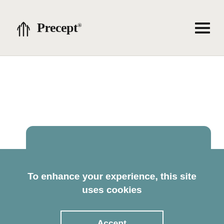Precept®
[Figure (illustration): Teal/muted green rounded rectangle card with a white circle in the upper-left area, representing a placeholder image or content card]
To enhance your experience, this site uses cookies
Accept